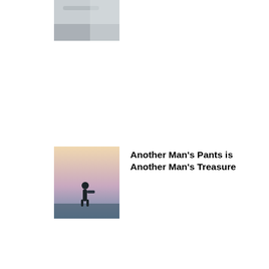[Figure (photo): Partial image of hands near a surface, cropped at top of page]
[Figure (photo): Person standing outdoors at dusk or dawn carrying a bag]
Another Man's Pants is Another Man's Treasure
[Figure (photo): Dark colorful psychedelic or graffiti art image]
What is the meaning behind these psychic readings?!
[Figure (photo): Sunny summer graphic with sun icon and yellow/blue colors]
Best summer camps for this hot summer!